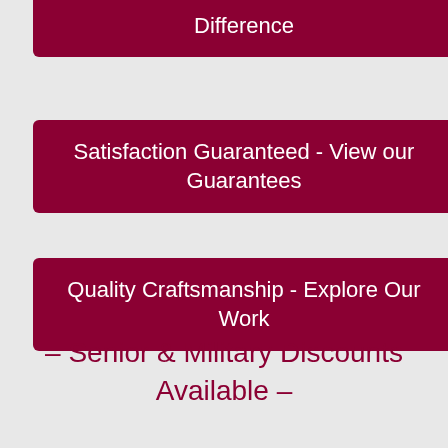Difference
Satisfaction Guaranteed - View our Guarantees
Quality Craftsmanship - Explore Our Work
– Senior & Military Discounts Available –